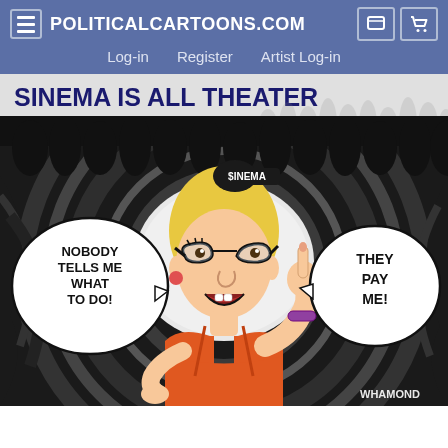POLITICALCARTOONS.COM  Log-in  Register  Artist Log-in
SINEMA IS ALL THEATER
[Figure (illustration): Political cartoon by Whamond depicting a caricature of Senator Kyrsten Sinema wearing a hair bun hat labeled '$INEMA', cat-eye glasses, orange tank top, and a purple bracelet. She holds up one finger. Two speech bubbles read: 'NOBODY TELLS ME WHAT TO DO!' on the left, and 'THEY PAY ME!' on the right. Background features dramatic swirling dark shading and a crowd silhouette at top.]